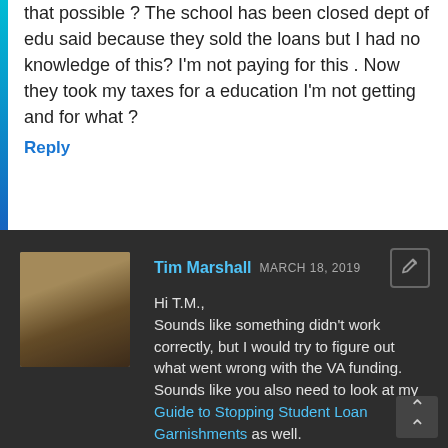that possible ? The school has been closed dept of edu said because they sold the loans but I had no knowledge of this? I'm not paying for this . Now they took my taxes for a education I'm not getting and for what ?
Reply
[Figure (photo): Profile photo of Tim Marshall, a man wearing a cowboy hat]
Tim Marshall MARCH 18, 2019
Hi T.M.,
Sounds like something didn't work correctly, but I would try to figure out what went wrong with the VA funding. Sounds like you also need to look at my Guide to Stopping Student Loan Garnishments as well.